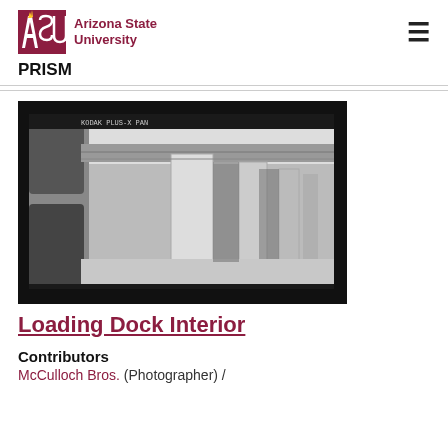ASU Arizona State University | PRISM
[Figure (photo): Black and white photograph of a loading dock interior showing concrete columns and open ceiling structure]
Loading Dock Interior
Contributors
McCulloch Bros. (Photographer) /